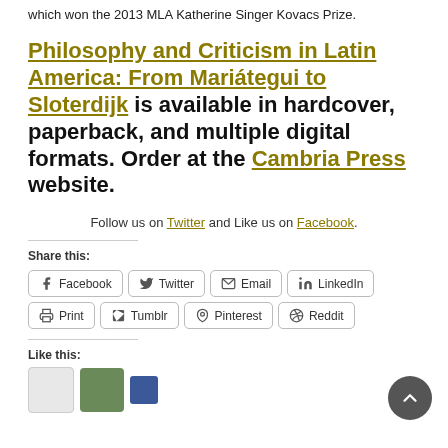which won the 2013 MLA Katherine Singer Kovacs Prize.
Philosophy and Criticism in Latin America: From Mariátegui to Sloterdijk is available in hardcover, paperback, and multiple digital formats. Order at the Cambria Press website.
Follow us on Twitter and Like us on Facebook.
Share this:
Like this: